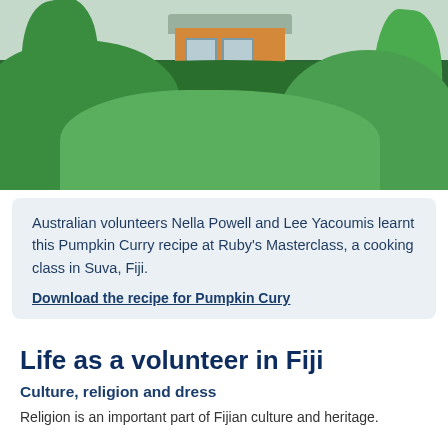[Figure (photo): Tropical scene with dense green foliage and a yellow-orange house with a balcony visible through the trees in Fiji.]
Australian volunteers Nella Powell and Lee Yacoumis learnt this Pumpkin Curry recipe at Ruby's Masterclass, a cooking class in Suva, Fiji.

Download the recipe for Pumpkin Cury
Life as a volunteer in Fiji
Culture, religion and dress
Religion is an important part of Fijian culture and heritage.